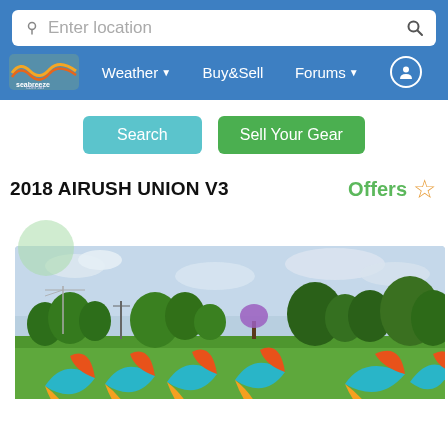Enter location [search bar]
Weather | Buy&Sell | Forums | User icon — seabreeze.com.au navigation
Search   Sell Your Gear
2018 AIRUSH UNION V3
Offers ☆
[Figure (photo): Photo of multiple Airush Union V3 kites laid out on green grass in a park, with trees and a partly cloudy sky in the background. Semi-transparent green circle in the top left of the image area.]